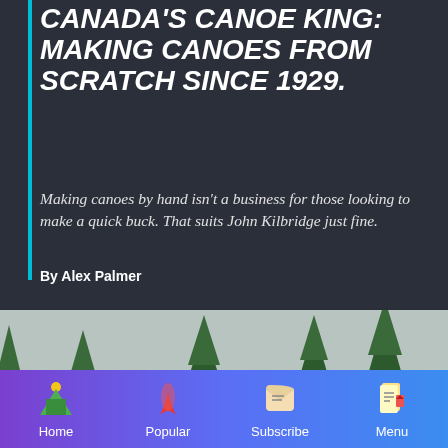CANADA'S CANOE KING: MAKING CANOES FROM SCRATCH SINCE 1929.
Making canoes by hand isn't a business for those looking to make a quick buck. That suits John Kilbridge just fine.
By Alex Palmer
[Figure (photo): Outdoor landscape photo showing pine trees and rocky terrain under an overcast sky]
Home | Popular | Subscribe | Menu